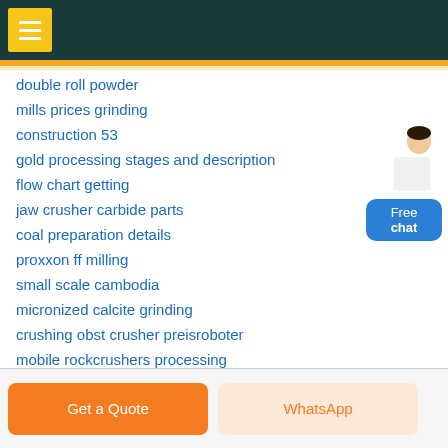Navigation header with menu button
double roll powder
mills prices grinding
construction 53
gold processing stages and description
flow chart getting
jaw crusher carbide parts
coal preparation details
proxxon ff milling
small scale cambodia
micronized calcite grinding
crushing obst crusher preisroboter
mobile rockcrushers processing
gyratory rock crushers
jordan grinding mill for sale zimbabwe
thomas quarry friends
Get a Quote | WhatsApp